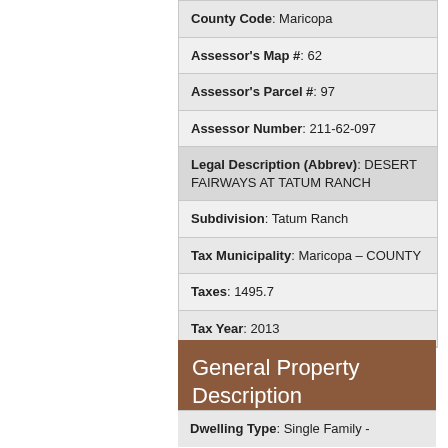| County Code: Maricopa |
| Assessor's Map #: 62 |
| Assessor's Parcel #: 97 |
| Assessor Number: 211-62-097 |
| Legal Description (Abbrev): DESERT FAIRWAYS AT TATUM RANCH |
| Subdivision: Tatum Ranch |
| Tax Municipality: Maricopa – COUNTY |
| Taxes: 1495.7 |
| Tax Year: 2013 |
General Property Description
Dwelling Type: Single Family -